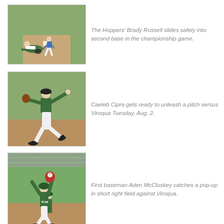[Figure (photo): Baseball player (Brady Russell of the Hoppers) sliding into second base while another player reaches down to tag in a championship game.]
The Hoppers' Brady Russell slides safely into second base in the championship game.
[Figure (photo): Baseball pitcher Caeleb Cipra in mid-windup, about to release a pitch, with green grass in background.]
Caeleb Cipra gets ready to unleash a pitch versus Viroqua Tuesday, Aug. 2.
[Figure (photo): First baseman Aden McCluskey catching a pop-up ball in short right field against Viroqua.]
First baseman Aden McCluskey catches a pop-up in short right field against Viroqua.